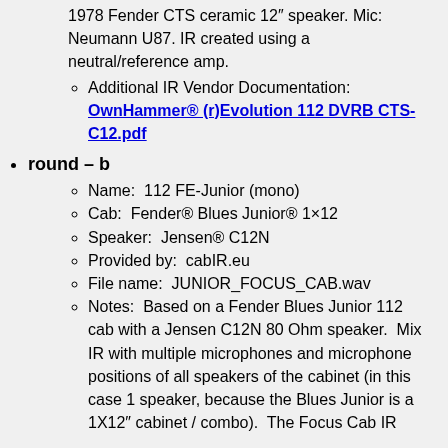1978 Fender CTS ceramic 12" speaker. Mic: Neumann U87. IR created using a neutral/reference amp.
Additional IR Vendor Documentation: OwnHammer® (r)Evolution 112 DVRB CTS-C12.pdf
round – b
Name:  112 FE-Junior (mono)
Cab:  Fender® Blues Junior® 1×12
Speaker:  Jensen® C12N
Provided by:  cabIR.eu
File name:  JUNIOR_FOCUS_CAB.wav
Notes:  Based on a Fender Blues Junior 112 cab with a Jensen C12N 80 Ohm speaker.  Mix IR with multiple microphones and microphone positions of all speakers of the cabinet (in this case 1 speaker, because the Blues Junior is a 1X12" cabinet / combo).  The Focus Cab IR